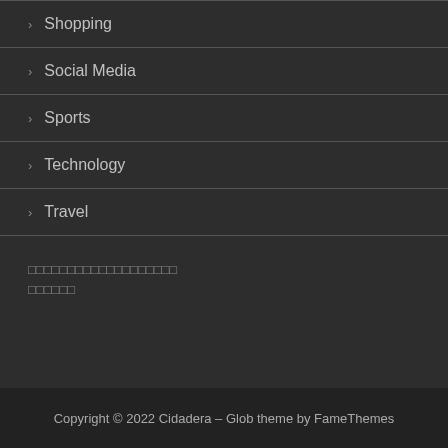Shopping
Social Media
Sports
Technology
Travel
□□□□□□□□□□□□□□□□□□□□□□□□□□
Copyright © 2022 Cidadera – Glob theme by FameThemes